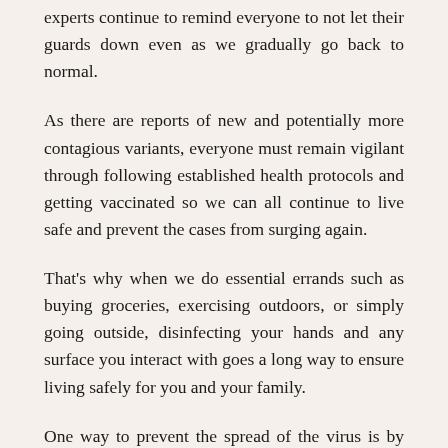experts continue to remind everyone to not let their guards down even as we gradually go back to normal.
As there are reports of new and potentially more contagious variants, everyone must remain vigilant through following established health protocols and getting vaccinated so we can all continue to live safe and prevent the cases from surging again.
That's why when we do essential errands such as buying groceries, exercising outdoors, or simply going outside, disinfecting your hands and any surface you interact with goes a long way to ensure living safely for you and your family.
One way to prevent the spread of the virus is by always carrying a trusted rubbing alcohol brand that